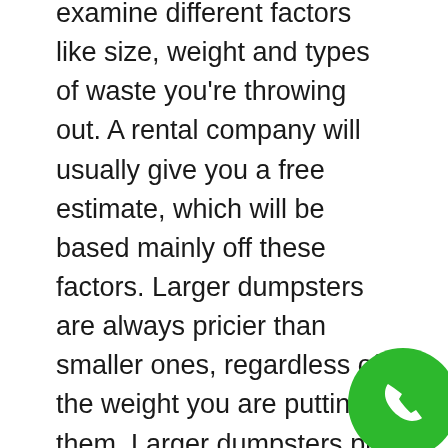examine different factors like size, weight and types of waste you're throwing out. A rental company will usually give you a free estimate, which will be based mainly off these factors. Larger dumpsters are always pricier than smaller ones, regardless of the weight you are putting in them. Larger dumpsters put more of a cost on the rental business in the form of fuel, manpower and dumping work needed in the disposal phase.
Local dumpster companies in Old Bethpage are going to be the best ones to go with if you live in that area. Local companies always have an established dumping arrangement with waste management facilities, which will save you effort and paperwork. They'll also be aware of local regulations, which can streamline the entire disposal job. By giving your dumpster company as much info as possible regarding your waste materials, ensure you get the best deal and correct si...
[Figure (other): Green circular phone/call button in the bottom-right corner]